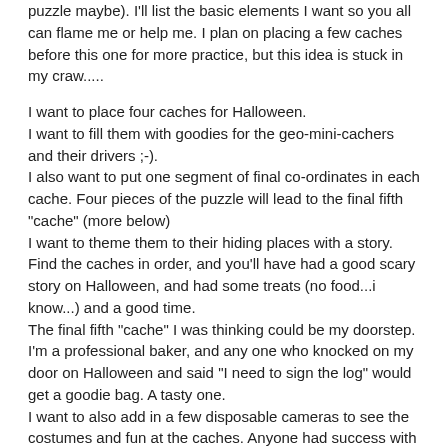puzzle maybe). I'll list the basic elements I want so you all can flame me or help me. I plan on placing a few caches before this one for more practice, but this idea is stuck in my craw.....
I want to place four caches for Halloween.
I want to fill them with goodies for the geo-mini-cachers and their drivers ;-).
I also want to put one segment of final co-ordinates in each cache. Four pieces of the puzzle will lead to the final fifth "cache" (more below)
I want to theme them to their hiding places with a story. Find the caches in order, and you'll have had a good scary story on Halloween, and had some treats (no food...i know...) and a good time.
The final fifth "cache" I was thinking could be my doorstep. I'm a professional baker, and any one who knocked on my door on Halloween and said "I need to sign the log" would get a goodie bag. A tasty one.
I want to also add in a few disposable cameras to see the costumes and fun at the caches. Anyone had success with this?
My plan is to go back on Nov1 and turn these into regular non-themed caches for the rest of the year, then re-write a new story next year.
The problem is, when they are just regular caches, theyll just be regular caches. No need for the multi tag. This isn't truly an Event, so that doesn't